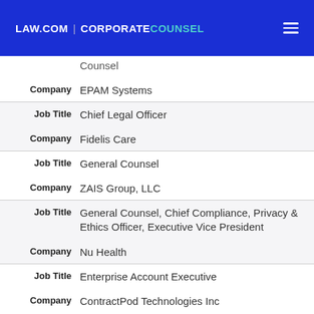LAW.COM | CORPORATE COUNSEL
| Field | Value |
| --- | --- |
| Company | EPAM Systems |
| Job Title | Chief Legal Officer |
| Company | Fidelis Care |
| Job Title | General Counsel |
| Company | ZAIS Group, LLC |
| Job Title | General Counsel, Chief Compliance, Privacy & Ethics Officer, Executive Vice President |
| Company | Nu Health |
| Job Title | Enterprise Account Executive |
| Company | ContractPod Technologies Inc |